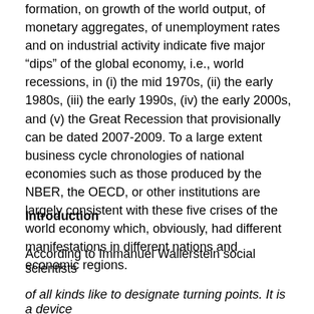formation, on growth of the world output, of monetary aggregates, of unemployment rates and on industrial activity indicate five major “dips” of the global economy, i.e., world recessions, in (i) the mid 1970s, (ii) the early 1980s, (iii) the early 1990s, (iv) the early 2000s, and (v) the Great Recession that provisionally can be dated 2007-2009. To a large extent business cycle chronologies of national economies such as those produced by the NBER, the OECD, or other institutions are largely consistent with these five crises of the world economy which, obviously, had different manifestations in different nations and economic regions.
Introduction
According to Immanuel Wallerstein social scientists
of all kinds like to designate turning points. It is a device